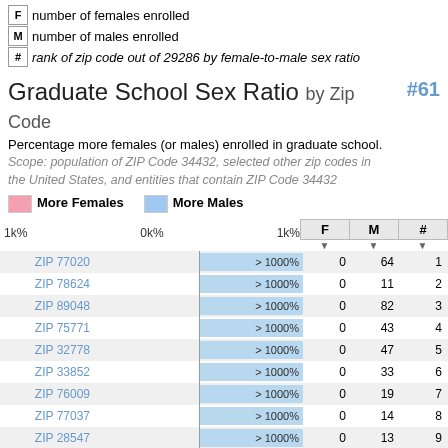F  number of females enrolled
M  number of males enrolled
#  rank of zip code out of 29286 by female-to-male sex ratio
Graduate School Sex Ratio by Zip Code  #61
Percentage more females (or males) enrolled in graduate school.
Scope: population of ZIP Code 34432, selected other zip codes in the United States, and entities that contain ZIP Code 34432
More Females   More Males
| ZIP | bar | F | M | # |
| --- | --- | --- | --- | --- |
| ZIP 77020 | > 1000% | 0 | 64 | 1 |
| ZIP 78624 | > 1000% | 0 | 11 | 2 |
| ZIP 89048 | > 1000% | 0 | 82 | 3 |
| ZIP 75771 | > 1000% | 0 | 43 | 4 |
| ZIP 32778 | > 1000% | 0 | 47 | 5 |
| ZIP 33852 | > 1000% | 0 | 33 | 6 |
| ZIP 76009 | > 1000% | 0 | 19 | 7 |
| ZIP 77037 | > 1000% | 0 | 14 | 8 |
| ZIP 28547 | > 1000% | 0 | 13 | 9 |
| ZIP 75159 | > 1000% | 0 | 52 | 10 |
| ZIP 46816 | > 1000% | 0 | 67 | 11 |
| ZIP 77069 | > 1000% | 0 | 10 | 12 |
| ZIP 37748 | > 1000% | 0 | 76 | 13 |
| ZIP 93268 | > 1000% | 0 | 24 | 14 |
| ZIP 35159 | > 1000% | 0 | 17 | 15 |